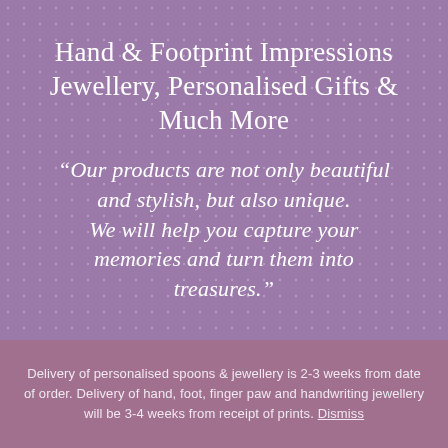Hand & Footprint Impressions Jewellery, Personalised Gifts & Much More
“Our products are not only beautiful and stylish, but also unique. We will help you capture your memories and turn them into treasures.”
Delivery of personalised spoons & jewellery is 2-3 weeks from date of order. Delivery of hand, foot, finger paw and handwriting jewellery will be 3-4 weeks from receipt of prints. Dismiss